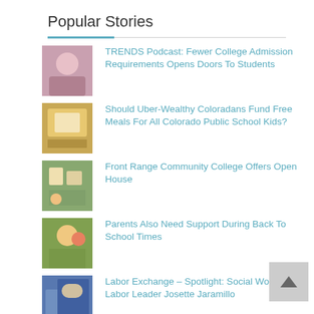Popular Stories
TRENDS Podcast: Fewer College Admission Requirements Opens Doors To Students
Should Uber-Wealthy Coloradans Fund Free Meals For All Colorado Public School Kids?
Front Range Community College Offers Open House
Parents Also Need Support During Back To School Times
Labor Exchange – Spotlight: Social Worker & Labor Leader Josette Jaramillo
State AG Phil Weiser on What Navient Settlement Means for Colorado Borrowers